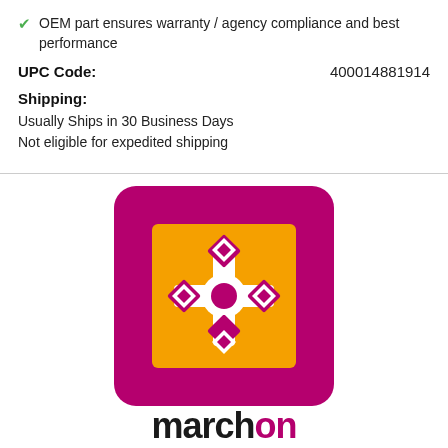OEM part ensures warranty / agency compliance and best performance
UPC Code: 400014881914
Shipping:
Usually Ships in 30 Business Days
Not eligible for expedited shipping
[Figure (logo): Marnel brand logo: magenta rounded square border with orange inner square containing a pattern of four magenta diamond shapes and a central circle in white cross arrangement, with partial brand name text 'march...' visible below]